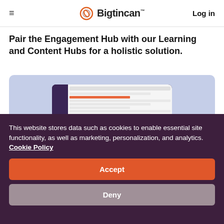≡  Bigtincan  Log in
Pair the Engagement Hub with our Learning and Content Hubs for a holistic solution.
[Figure (screenshot): Screenshot of Bigtincan software dashboard on a laptop/tablet screen displayed against a light blue/periwinkle background]
This website stores data such as cookies to enable essential site functionality, as well as marketing, personalization, and analytics. Cookie Policy
Accept
Deny